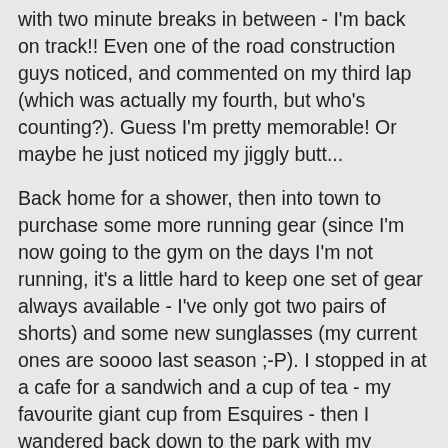with two minute breaks in between - I'm back on track!! Even one of the road construction guys noticed, and commented on my third lap (which was actually my fourth, but who's counting?). Guess I'm pretty memorable! Or maybe he just noticed my jiggly butt...
Back home for a shower, then into town to purchase some more running gear (since I'm now going to the gym on the days I'm not running, it's a little hard to keep one set of gear always available - I've only got two pairs of shorts) and some new sunglasses (my current ones are soooo last season ;-P). I stopped in at a cafe for a sandwich and a cup of tea - my favourite giant cup from Esquires - then I wandered back down to the park with my crochet and current book (It by Stephen King - something I've always wanted to read but never got around to). I spent a lazy hour and a half lying in the sun (covered in sun block of course) reading and crocheting, and narrowly missing getting trampled by a bunch of guys playing a lunchtime game of touch rugby. Eventually I moseyed on home, made the beds (because I'd been lazy and hadn't made them earlier in the day) then headed off to pick the boys up from school. T did his